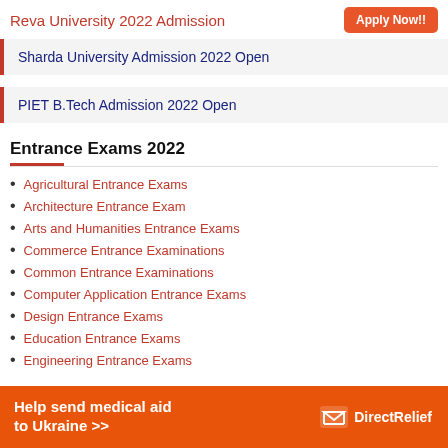Reva University 2022 Admission
Apply Now!!
Sharda University Admission 2022 Open
PIET B.Tech Admission 2022 Open
Entrance Exams 2022
Agricultural Entrance Exams
Architecture Entrance Exam
Arts and Humanities Entrance Exams
Commerce Entrance Examinations
Common Entrance Examinations
Computer Application Entrance Exams
Design Entrance Exams
Education Entrance Exams
Engineering Entrance Exams
Help send medical aid to Ukraine >>  DirectRelief